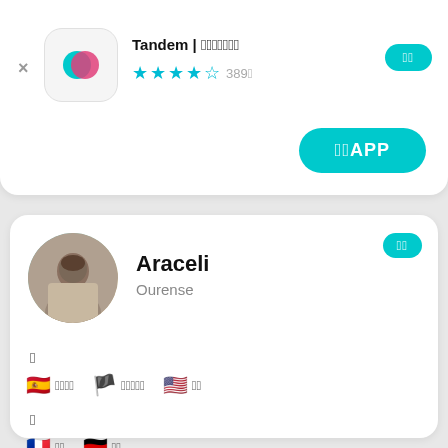[Figure (screenshot): Tandem app icon with overlapping teal and pink speech bubble shapes on white rounded square background]
Tandem | 언어교환 파트너 찾기
★★★★½ 389개
열기
앱열기APP
[Figure (photo): Circular profile photo of Araceli, a woman with dark hair wearing a patterned top, outdoors]
Araceli
Ourense
더보기
🇪🇸 스페인어   🏴󠁥󠁳󠁣󠁴󠁿 카탈루냐어   🇺🇸 영어
🇫🇷 프랑스어   🇩🇪 독일어